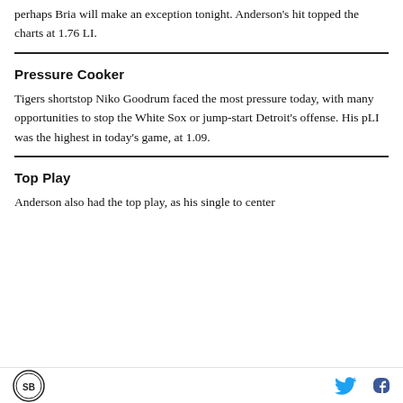perhaps Bria will make an exception tonight. Anderson's hit topped the charts at 1.76 LI.
Pressure Cooker
Tigers shortstop Niko Goodrum faced the most pressure today, with many opportunities to stop the White Sox or jump-start Detroit's offense. His pLI was the highest in today's game, at 1.09.
Top Play
Anderson also had the top play, as his single to center